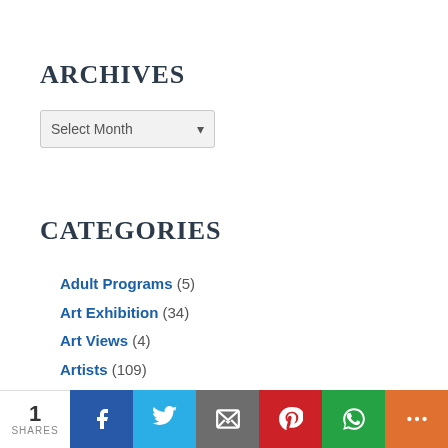ARCHIVES
Select Month (dropdown)
CATEGORIES
Adult Programs (5)
Art Exhibition (34)
Art Views (4)
Artists (109)
Barry Van Dusen Residency (92)
Education (59)
1 SHARES | Facebook | Twitter | Email | Pinterest | WhatsApp | More